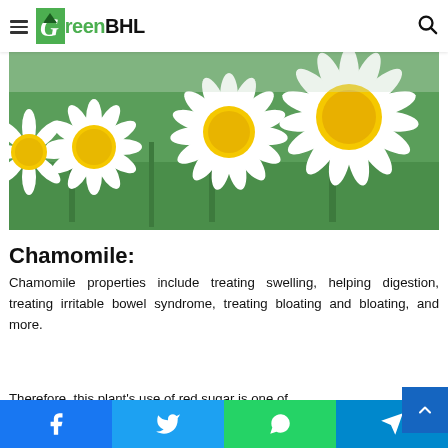GreenBHL
[Figure (photo): Close-up photo of white chamomile daisy flowers with yellow centers on a green background]
Chamomile:
Chamomile properties include treating swelling, helping digestion, treating irritable bowel syndrome, treating bloating and bloating, and more.
Therefore, this plant's use of red sugar is one of
Facebook Twitter WhatsApp Telegram